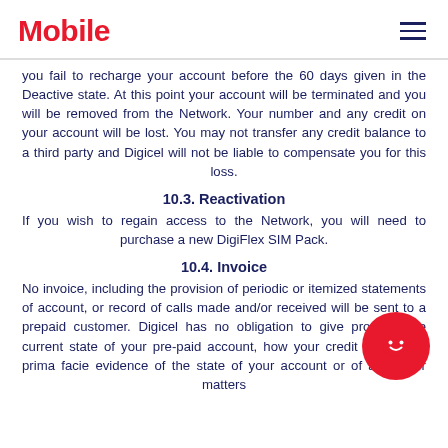Mobile
you fail to recharge your account before the 60 days given in the Deactive state. At this point your account will be terminated and you will be removed from the Network. Your number and any credit on your account will be lost. You may not transfer any credit balance to a third party and Digicel will not be liable to compensate you for this loss.
10.3. Reactivation
If you wish to regain access to the Network, you will need to purchase a new DigiFlex SIM Pack.
10.4. Invoice
No invoice, including the provision of periodic or itemized statements of account, or record of calls made and/or received will be sent to a pre-paid customer. Digicel has no obligation to give proof of the current state of your pre-paid account, how your credit is used or prima facie evidence of the state of your account or of any other matters